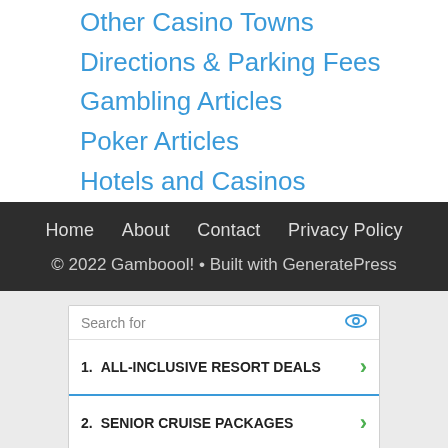Other Casino Towns
Directions & Parking Fees
Gambling Articles
Poker Articles
Hotels and Casinos
Home   About   Contact   Privacy Policy
© 2022 Gamboool! • Built with GeneratePress
Search for
1.  ALL-INCLUSIVE RESORT DEALS
2.  SENIOR CRUISE PACKAGES